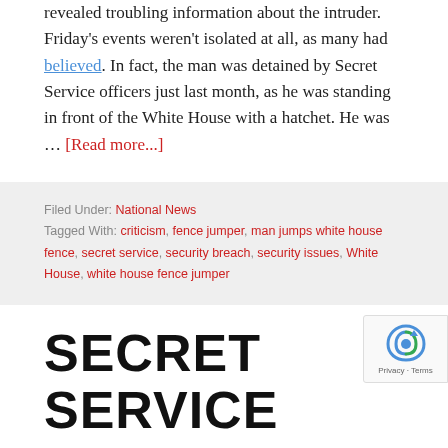revealed troubling information about the intruder. Friday's events weren't isolated at all, as many had believed. In fact, the man was detained by Secret Service officers just last month, as he was standing in front of the White House with a hatchet. He was … [Read more...]
Filed Under: National News
Tagged With: criticism, fence jumper, man jumps white house fence, secret service, security breach, security issues, White House, white house fence jumper
SECRET SERVICE